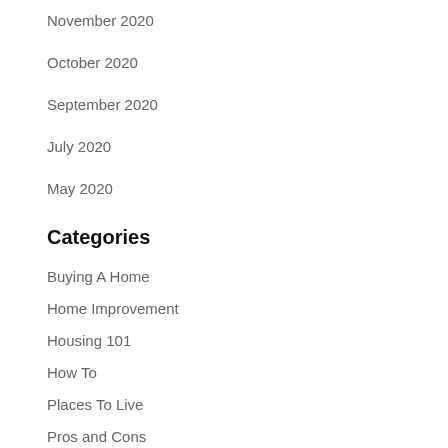November 2020
October 2020
September 2020
July 2020
May 2020
Categories
Buying A Home
Home Improvement
Housing 101
How To
Places To Live
Pros and Cons
Questions
Selling Your Home